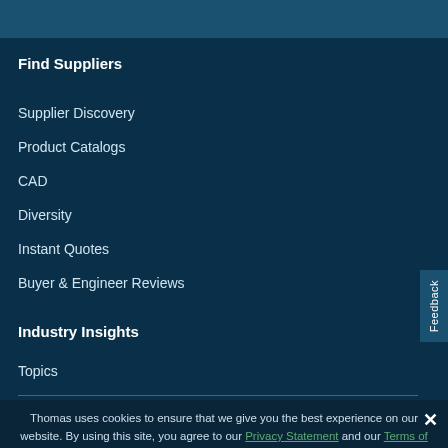Find Suppliers
Supplier Discovery
Product Catalogs
CAD
Diversity
Instant Quotes
Buyer & Engineer Reviews
Industry Insights
Topics
Thomas uses cookies to ensure that we give you the best experience on our website. By using this site, you agree to our Privacy Statement and our Terms of Use.